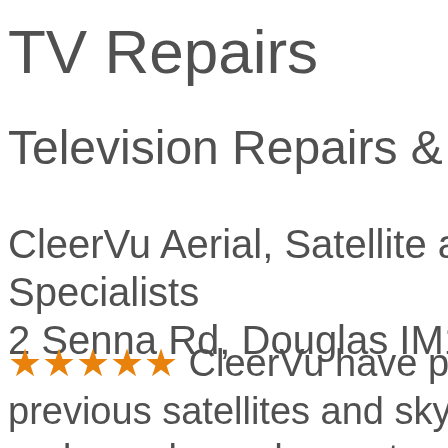TV Repairs
Television Repairs & Se
CleerVu Aerial, Satellite and Au Specialists
2 Senna Rd, Douglas IM1 2HB –
★★★★★ CleerVu have provided fault previous satellites and sky boxes and are always happy to answer